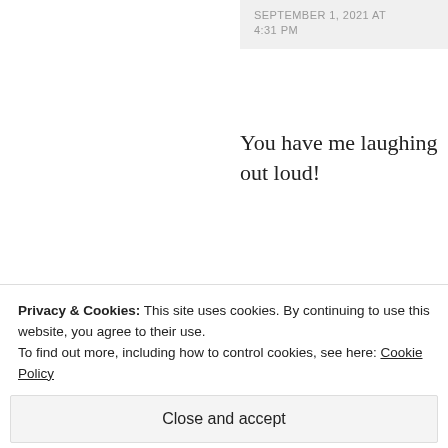SEPTEMBER 1, 2021 AT 4:31 PM
You have me laughing out loud!
★ Liked by 1 person
REPLY
[Figure (logo): Green geometric star/snowflake logo for Marketing Email]
Marketing Email
Privacy & Cookies: This site uses cookies. By continuing to use this website, you agree to their use.
To find out more, including how to control cookies, see here: Cookie Policy
Close and accept